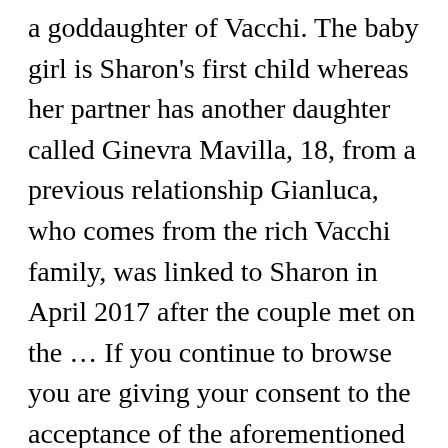a goddaughter of Vacchi. The baby girl is Sharon's first child whereas her partner has another daughter called Ginevra Mavilla, 18, from a previous relationship Gianluca, who comes from the rich Vacchi family, was linked to Sharon in April 2017 after the couple met on the ... If you continue to browse you are giving your consent to the acceptance of the aforementioned cookies and acceptance of our Cookies policy, Click the link for more information.plugin cookies. Bailando en el cuarto de nuestra Princesa ♥ @sharfonseca. A través de su cuenta de TikTok el magnate dejó ver un poco de la hermosa habitación en la que duerme su pequeña Blu. Gianluca que es dueño de la empresa SEA Società Europea